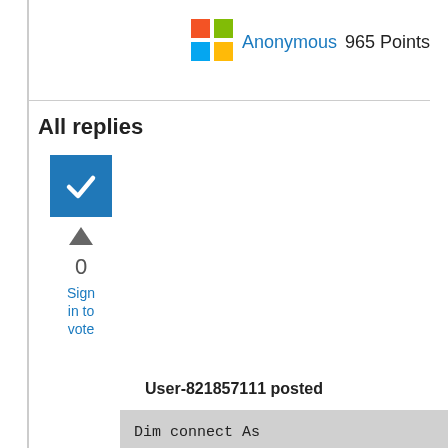[Figure (logo): Microsoft four-color logo (red, green, blue, yellow squares)]
Anonymous  965 Points
All replies
[Figure (other): Blue checkbox with white checkmark (answered/accepted marker)]
0
Sign in to vote
User-821857111 posted
Dim connect As String = "Provider=Microsoft.Jet.OLEDB.4.0;Data